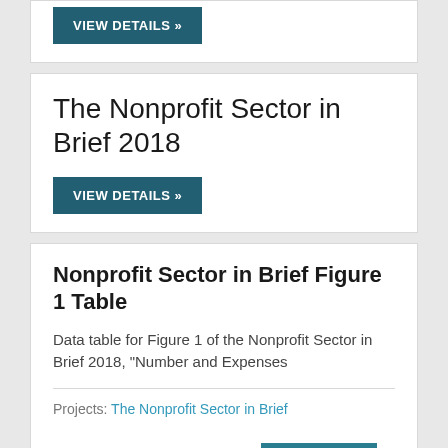[Figure (other): VIEW DETAILS button (teal) at top of page, partial card]
The Nonprofit Sector in Brief 2018
[Figure (other): VIEW DETAILS button (teal)]
Nonprofit Sector in Brief Figure 1 Table
Data table for Figure 1 of the Nonprofit Sector in Brief 2018, "Number and Expenses
Projects: The Nonprofit Sector in Brief
[Figure (other): VIEW button with bar chart icon (teal), right-aligned]